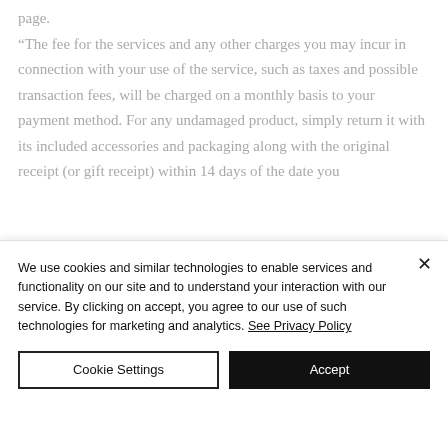page. “The fee for the services and any other charges you may incur in connection with your use of the service, such as taxes and possible transaction fees, will be charged on a monthly basis to your payment method. For any undamaged product, simply return it with its included accessories and packaging along with the original receipt (or gift receipt) within 14 days of the date you
We use cookies and similar technologies to enable services and functionality on our site and to understand your interaction with our service. By clicking on accept, you agree to our use of such technologies for marketing and analytics. See Privacy Policy
Cookie Settings
Accept